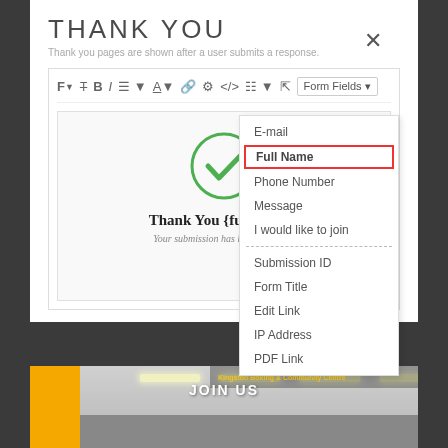THANK YOU
Thank you pages are shown after a user submits a response.
[Figure (screenshot): Form editor showing a thank you page preview with a green checkmark circle, bold text 'Thank You {fullName}!' and italic text 'Your submission has been received.' A dropdown menu labeled 'Form Fields' is open showing options: E-mail, Full Name (highlighted in red border), Phone Number, Message, I would like to join, Submission ID, Form Title, Edit Link, IP Address, PDF Link.]
[Figure (photo): Interior photo of Kingston Boxing & Community Centre showing yellow walls, fluorescent lights, and a 'JOIN US' banner text overlay.]